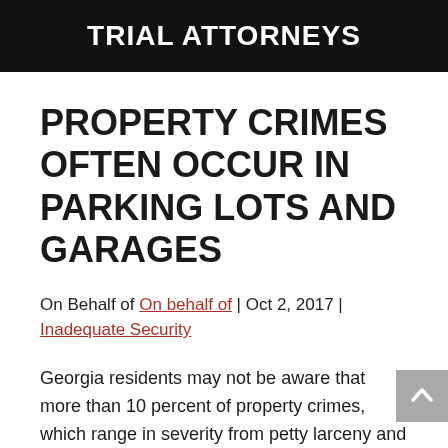TRIAL ATTORNEYS
PROPERTY CRIMES OFTEN OCCUR IN PARKING LOTS AND GARAGES
On Behalf of On behalf of | Oct 2, 2017 | Inadequate Security
Georgia residents may not be aware that more than 10 percent of property crimes, which range in severity from petty larceny and vandalism to armed robbery and extortion, take place in parking garages or lots, according to data from Bureau of